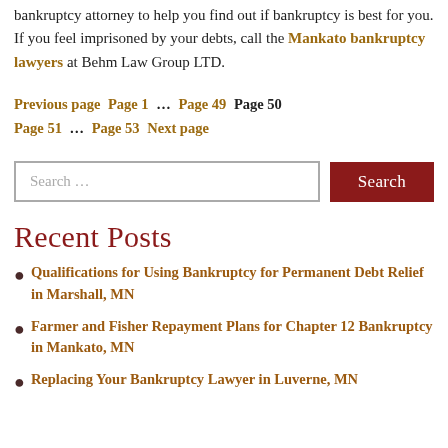bankruptcy attorney to help you find out if bankruptcy is best for you. If you feel imprisoned by your debts, call the Mankato bankruptcy lawyers at Behm Law Group LTD.
Previous page  Page 1  ...  Page 49  Page 50  Page 51  ...  Page 53  Next page
Search ...  [Search button]
Recent Posts
Qualifications for Using Bankruptcy for Permanent Debt Relief in Marshall, MN
Farmer and Fisher Repayment Plans for Chapter 12 Bankruptcy in Mankato, MN
Replacing Your Bankruptcy Lawyer in Luverne, MN